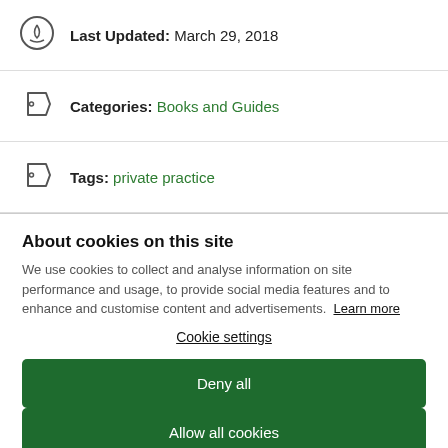Last Updated: March 29, 2018
Categories: Books and Guides
Tags: private practice
About cookies on this site
We use cookies to collect and analyse information on site performance and usage, to provide social media features and to enhance and customise content and advertisements. Learn more
Cookie settings
Deny all
Allow all cookies